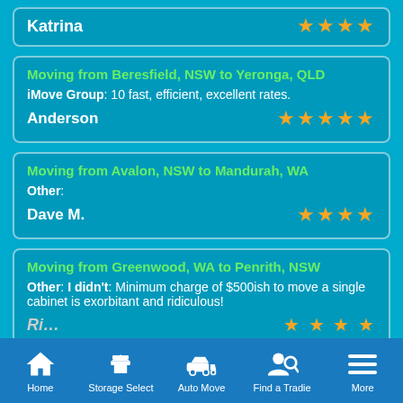Katrina — 4 stars (partial top card)
Moving from Beresfield, NSW to Yeronga, QLD | iMove Group: 10 fast, efficient, excellent rates. | Anderson — 5 stars
Moving from Avalon, NSW to Mandurah, WA | Other: | Dave M. — 4 stars
Moving from Greenwood, WA to Penrith, NSW | Other: I didn't: Minimum charge of $500ish to move a single cabinet is exorbitant and ridiculous!
Home | Storage Select | Auto Move | Find a Tradie | More